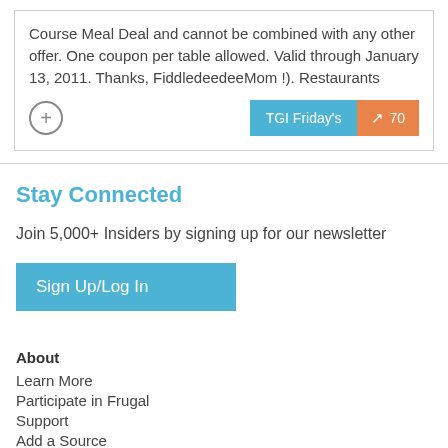Course Meal Deal and cannot be combined with any other offer. One coupon per table allowed. Valid through January 13, 2011. Thanks, FiddledeedeeMom !). Restaurants
[Figure (other): Plus/add icon circle button on left; TGI Friday's teal label button and orange score badge showing trending arrow and 70 on right]
Stay Connected
Join 5,000+ Insiders by signing up for our newsletter
Sign Up/Log In
About
Learn More
Participate in Frugal
Support
Add a Source